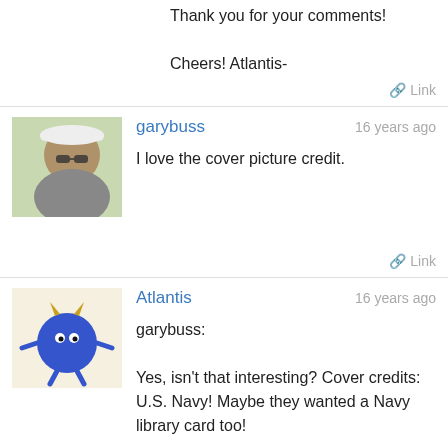Thank you for your comments!

Cheers! Atlantis-
Link
garybuss
16 years ago
[Figure (photo): Avatar photo of garybuss, a person wearing a white cap]
I love the cover picture credit.
Link
Atlantis
16 years ago
[Figure (illustration): Avatar illustration of Atlantis, a blue round character with horns]
garybuss:

Yes, isn't that interesting? Cover credits: U.S. Navy! Maybe they wanted a Navy library card too!

Thanks garybuss!

Cheers! Atlantis-